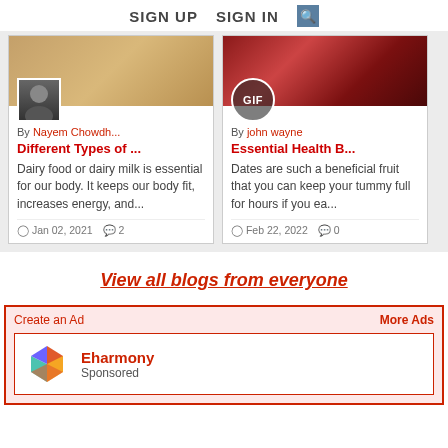SIGN UP   SIGN IN   [search icon]
[Figure (photo): Blog card image left - food/dairy background with user avatar photo of a man]
By Nayem Chowdh...
Different Types of ...
Dairy food or dairy milk is essential for our body. It keeps our body fit, increases energy, and...
Jan 02, 2021   2
[Figure (photo): Blog card image right - dates/red berries background with GIF badge]
By john wayne
Essential Health B...
Dates are such a beneficial fruit that you can keep your tummy full for hours if you ea...
Feb 22, 2022   0
View all blogs from everyone
Create an Ad
More Ads
Eharmony
Sponsored